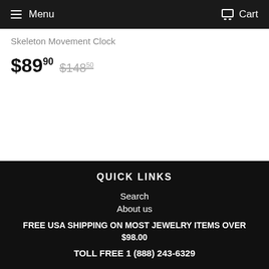Menu  Cart
Skeleton Movement Clock
$89.90  $148.50
QUICK LINKS
Search
About us
FREE USA SHIPPING ON MOST JEWELRY ITEMS OVER $98.00
TOLL FREE 1 (888) 243-6329